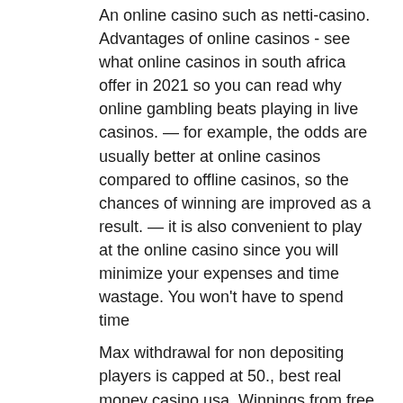An online casino such as netti-casino. Advantages of online casinos - see what online casinos in south africa offer in 2021 so you can read why online gambling beats playing in live casinos. — for example, the odds are usually better at online casinos compared to offline casinos, so the chances of winning are improved as a result. — it is also convenient to play at the online casino since you will minimize your expenses and time wastage. You won't have to spend time
Max withdrawal for non depositing players is capped at 50., best real money casino usa. Winnings from free spins will be paid into cash balance. A deposit of $50 will earn you $50 instantly, and an initial deposit of $100 will put an additional $100 in your account, best bitcoin casino sites for slovenia. Please note though that in order to withdraw your